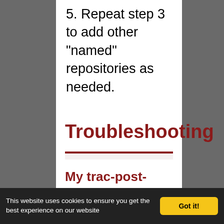5. Repeat step 3 to add other "named" repositories as needed.
Troubleshooting
My trac-post-commit-hook doesn't work anymore
You must now use the optional
This website uses cookies to ensure you get the best experience on our website